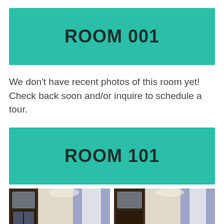ROOM 001
We don't have recent photos of this room yet! Check back soon and/or inquire to schedule a tour.
ROOM 101
[Figure (photo): Two side-by-side photos of a room interior showing wooden furniture with a mirror and windows with purple/blue curtains.]